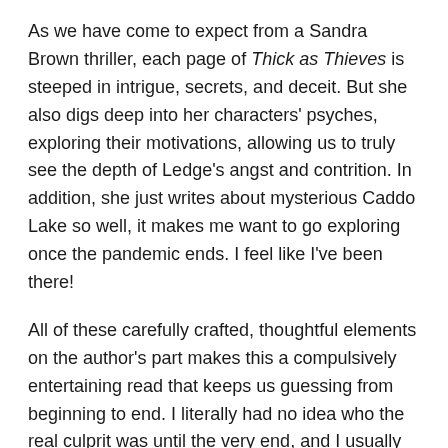As we have come to expect from a Sandra Brown thriller, each page of Thick as Thieves is steeped in intrigue, secrets, and deceit. But she also digs deep into her characters' psyches, exploring their motivations, allowing us to truly see the depth of Ledge's angst and contrition. In addition, she just writes about mysterious Caddo Lake so well, it makes me want to go exploring once the pandemic ends. I feel like I've been there!
All of these carefully crafted, thoughtful elements on the author's part makes this a compulsively entertaining read that keeps us guessing from beginning to end. I literally had no idea who the real culprit was until the very end, and I usually figure out the ending about halfway through a book! If you enjoyed her novels Mean Streak and Witness, you're going to devour Thick as Thieves. Don't miss it!